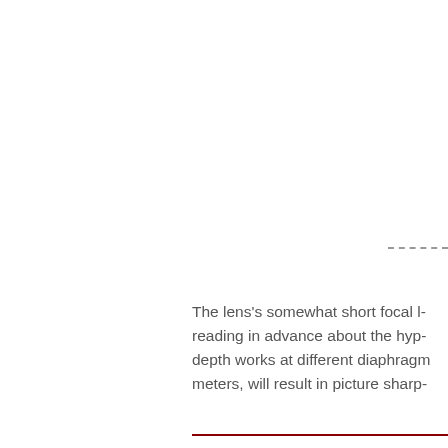The lens's somewhat short focal l- reading in advance about the hyp- depth works at different diaphragm meters, will result in picture sharp-